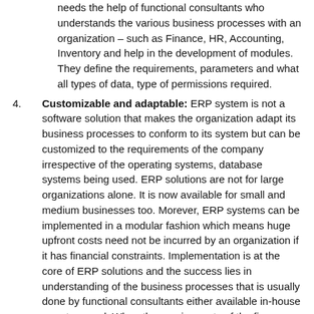needs the help of functional consultants who understands the various business processes with an organization – such as Finance, HR, Accounting, Inventory and help in the development of modules. They define the requirements, parameters and what all types of data, type of permissions required.
4. Customizable and adaptable: ERP system is not a software solution that makes the organization adapt its business processes to conform to its system but can be customized to the requirements of the company irrespective of the operating systems, database systems being used. ERP solutions are not for large organizations alone. It is now available for small and medium businesses too. Morever, ERP systems can be implemented in a modular fashion which means huge upfront costs need not be incurred by an organization if it has financial constraints. Implementation is at the core of ERP solutions and the success lies in understanding of the business processes that is usually done by functional consultants either available in-house or outsourced. When the requirements of the firm, software, servers integration doesn't match, it is said that there are gaps in implementation which are addressed by the